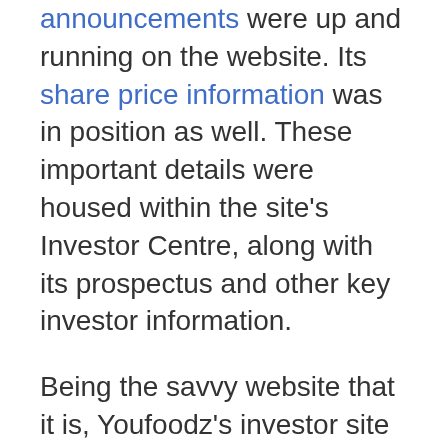announcements were up and running on the website. Its share price information was in position as well. These important details were housed within the site's Investor Centre, along with its prospectus and other key investor information.
Being the savvy website that it is, Youfoodz's investor site is easy to update with the latest company news, which can also be simultaneously emailed to subscribers. This way investor communications are smooth and timely. No need for a separate software to deliver announcements.
Youfoodz investor website was developed